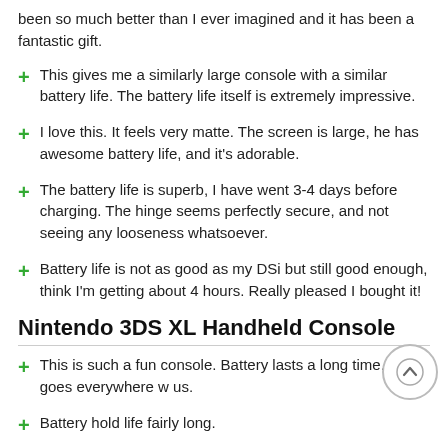been so much better than I ever imagined and it has been a fantastic gift.
This gives me a similarly large console with a similar battery life. The battery life itself is extremely impressive.
I love this. It feels very matte. The screen is large, he has awesome battery life, and it's adorable.
The battery life is superb, I have went 3-4 days before charging. The hinge seems perfectly secure, and not seeing any looseness whatsoever.
Battery life is not as good as my DSi but still good enough, think I'm getting about 4 hours. Really pleased I bought it!
Nintendo 3DS XL Handheld Console
This is such a fun console. Battery lasts a long time. And it goes everywhere w us.
Battery hold life fairly long.
Really a fantastic system and the battery life is fantastic.